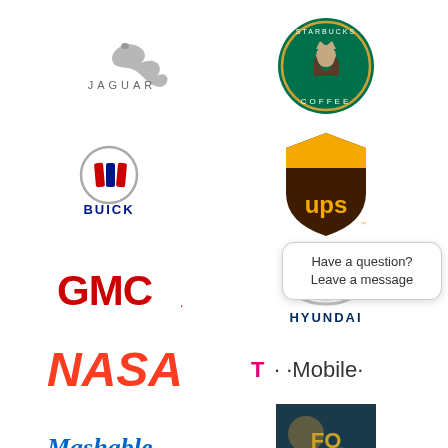[Figure (logo): Jaguar car brand logo — leaping jaguar silhouette above text JAGUAR in silver]
[Figure (logo): Starbucks Coffee logo — green circular badge with mermaid siren and text STARBUCKS COFFEE]
[Figure (logo): Buick logo — circular silver emblem with tri-shield logo and BUICK text below]
[Figure (logo): UPS logo — brown and gold shield with UPS text in gold]
[Figure (logo): GMC logo — red bold GMC text with period]
[Figure (logo): Hyundai logo — silver H emblem with HYUNDAI text in dark blue below]
[Figure (logo): NASA logo — red NASA worm logo text]
[Figure (logo): T-Mobile logo — magenta T then dot dot Mobile dot text]
[Figure (logo): Mashable logo — blue bold Mashable text]
[Figure (photo): Partially visible image with golden text on dark background, partially obscured by chat bubble]
[Figure (logo): Partially visible logo at bottom left — red and white striped building/structure logo with T.C.I. text]
[Figure (logo): Partially visible logo at bottom right — appears to be a swoosh or curved brand mark]
Have a question? Leave a message